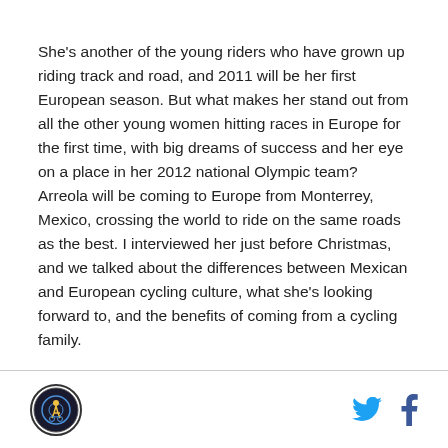She's another of the young riders who have grown up riding track and road, and 2011 will be her first European season. But what makes her stand out from all the other young women hitting races in Europe for the first time, with big dreams of success and her eye on a place in her 2012 national Olympic team? Arreola will be coming to Europe from Monterrey, Mexico, crossing the world to ride on the same roads as the best. I interviewed her just before Christmas, and we talked about the differences between Mexican and European cycling culture, what she's looking forward to, and the benefits of coming from a cycling family.
[logo] [twitter] [facebook]